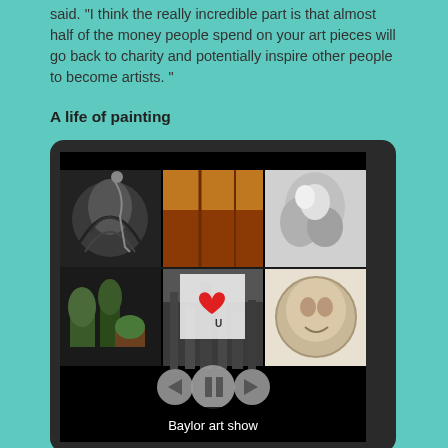said. “I think the really incredible part is that almost half of the money people spend on your art pieces will go back to charity and potentially inspire other people to become artists. ”
A life of painting
[Figure (screenshot): Tablet device showing a grid of artwork thumbnails from a Baylor art show, with media playback controls overlaid and a caption bar reading 'Baylor art show']
Baylor art show
No stranger to having her art displayed publically, medical student Kim Zhou has been painting from a